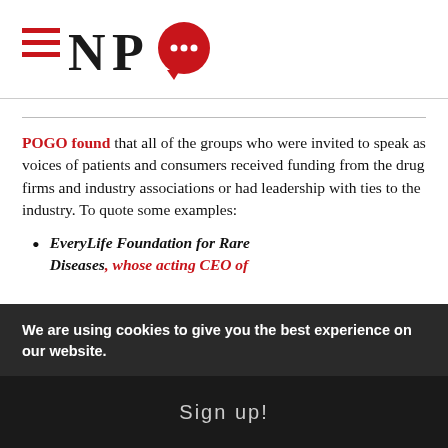NPQ logo
POGO found that all of the groups who were invited to speak as voices of patients and consumers received funding from the drug firms and industry associations or had leadership with ties to the industry. To quote some examples:
EveryLife Foundation for Rare Diseases, whose acting CEO of
We are using cookies to give you the best experience on our website.
Sign up!